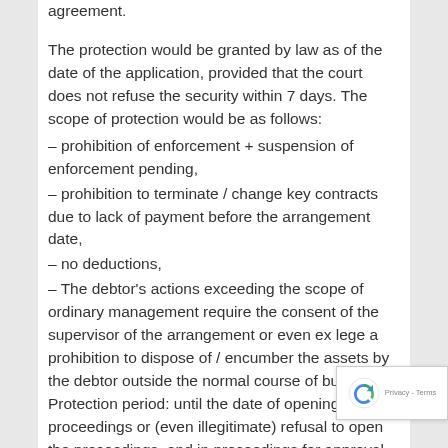agreement.
The protection would be granted by law as of the date of the application, provided that the court does not refuse the security within 7 days. The scope of protection would be as follows:
– prohibition of enforcement + suspension of enforcement pending,
– prohibition to terminate / change key contracts due to lack of payment before the arrangement date,
– no deductions,
– The debtor's actions exceeding the scope of ordinary management require the consent of the supervisor of the arrangement or even ex lege a prohibition to dispose of / encumber the assets by the debtor outside the normal course of business. Protection period: until the date of opening the proceedings or (even illegitimate) refusal to open the proceedings, and in proceedings for approval of the arrangement: 4 mo... with automatic extension if an agreement has been